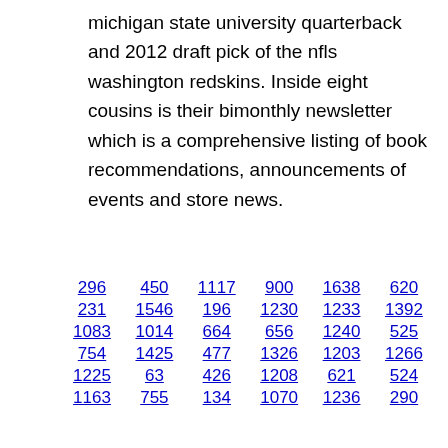michigan state university quarterback and 2012 draft pick of the nfls washington redskins. Inside eight cousins is their bimonthly newsletter which is a comprehensive listing of book recommendations, announcements of events and store news.
296
450
1117
900
1638
620
231
1546
196
1230
1233
1392
1083
1014
664
656
1240
525
754
1425
477
1326
1203
1266
1225
63
426
1208
621
524
1163
755
134
1070
1236
290